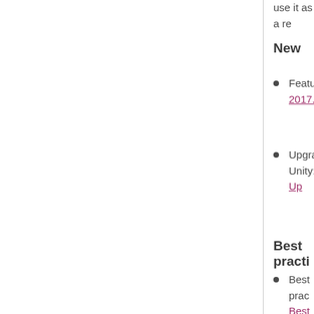use it as a re
New
Features 2017.2
Upgrading Unity: Up
Best practi
Best prac Best Pra
Expert gu own wor
Unity U